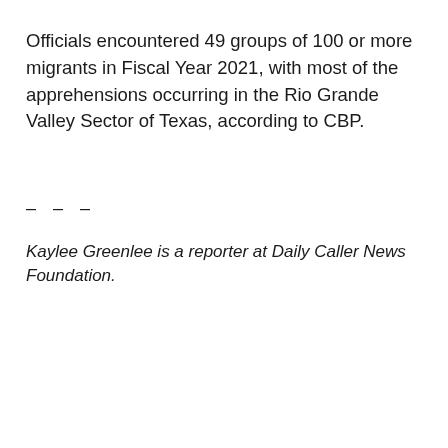Officials encountered 49 groups of 100 or more migrants in Fiscal Year 2021, with most of the apprehensions occurring in the Rio Grande Valley Sector of Texas, according to CBP.
– – –
Kaylee Greenlee is a reporter at Daily Caller News Foundation.